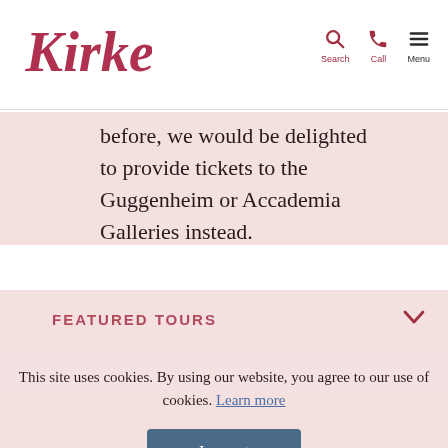Kirker | Search | Call | Menu
before, we would be delighted to provide tickets to the Guggenheim or Accademia Galleries instead.
FEATURED TOURS
This site uses cookies. By using our website, you agree to our use of cookies. Learn more
I accept